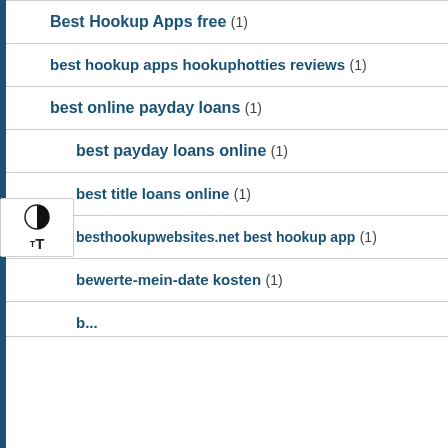Best Hookup Apps free (1)
best hookup apps hookuphotties reviews (1)
best online payday loans (1)
best payday loans online (1)
best title loans online (1)
besthookupwebsites.net best hookup app (1)
bewerte-mein-date kosten (1)
b... (1)